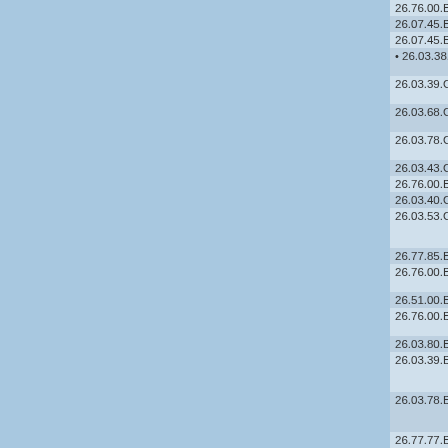| Code | Agency | Title |
| --- | --- | --- |
| 26.76.00.B7602 | NOAA | Severe We... |
| 26.07.45.B5042 | NOAA | Solar and C... |
| 26.07.45.B0583 | NOAA | Space Wea... |
| • 26.03.38.C0682 | NOAA | Spatial Pro... Manage... |
| 26.03.39.C0682 | NOAA | Spatial Pro... Manage... |
| 26.03.68.C0682 | NOAA | Spatial Pro... Manage... |
| 26.03.78.C0682 | NOAA | Spatial Pro... Manage... |
| 26.03.43.C0172 | NOAA | Stock Asse... |
| 26.76.00.B6868 | NOAA | Storm-Scal... |
| 26.03.40.C0264 | NOAA | Strategies f... |
| 26.03.53.C0542 | NOAA | Susceptibili... Acidificatio... Sampling a... |
| 26.77.85.B5364 | NOAA | The Role of... |
| 26.76.00.B4638 | NOAA | Thundersto... Mesoscale... |
| 26.51.00.B8111 | NOAA | Tropical Oc... |
| 26.76.00.B7468 | NOAA | Understand... Weather Fo... |
| 26.03.80.B8264 | NOAA | Understand... |
| 26.03.39.B7558 | NOAA | Understand... decision-ma... towards cli... |
| 26.03.78.B7558 | NOAA | Understand... decision-ma... towards cli... |
| 26.77.77.B4631 | NOAA | Underwater... |
| 26.77.85.C0567 | NOAA | Upper-Ocea... Surface Ve... |
| 26.76.00.B8554 | NOAA | Warn-on-Fo... |
| 26.03.53.C0522 | NOAA | Wild Scallo... Estimate Re... Acidificatio... |